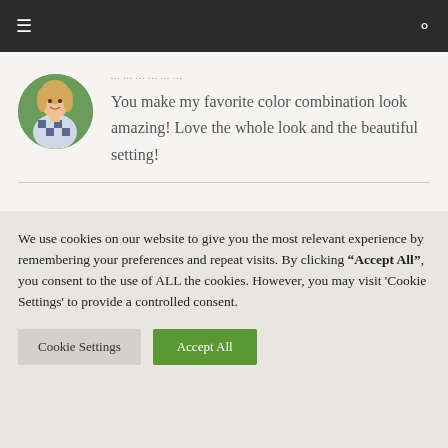≡  🔍
[Figure (photo): Circular avatar photo of a woman wearing a blue and white checkered/polka-dot top, outdoors with greenery background]
You make my favorite color combination look amazing! Love the whole look and the beautiful setting!
We use cookies on our website to give you the most relevant experience by remembering your preferences and repeat visits. By clicking "Accept All", you consent to the use of ALL the cookies. However, you may visit 'Cookie Settings' to provide a controlled consent.
Cookie Settings  Accept All